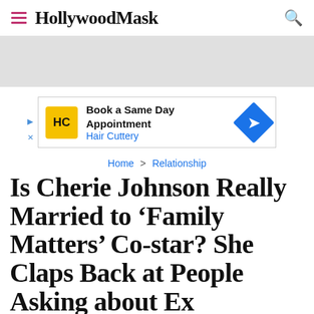HollywoodMask
[Figure (other): Advertisement banner for Hair Cuttery: 'Book a Same Day Appointment / Hair Cuttery' with HC logo and directional diamond icon]
Home > Relationship
Is Cherie Johnson Really Married to 'Family Matters' Co-star? She Claps Back at People Asking about Ex